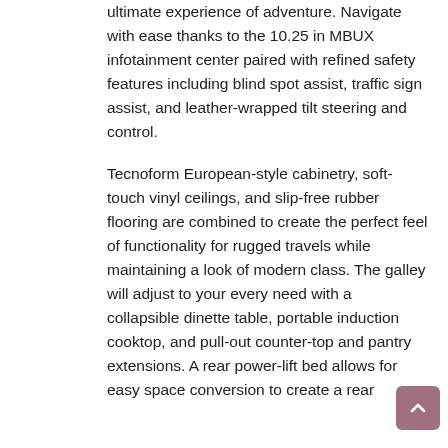ultimate experience of adventure. Navigate with ease thanks to the 10.25 in MBUX infotainment center paired with refined safety features including blind spot assist, traffic sign assist, and leather-wrapped tilt steering and control.
Tecnoform European-style cabinetry, soft-touch vinyl ceilings, and slip-free rubber flooring are combined to create the perfect feel of functionality for rugged travels while maintaining a look of modern class. The galley will adjust to your every need with a collapsible dinette table, portable induction cooktop, and pull-out counter-top and pantry extensions. A rear power-lift bed allows for easy space conversion to create a rear